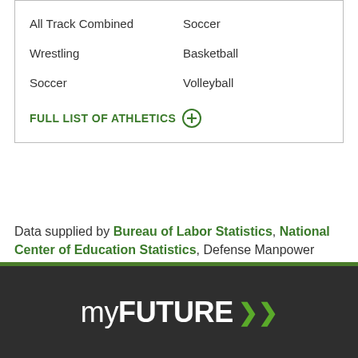All Track Combined
Soccer
Wrestling
Basketball
Soccer
Volleyball
FULL LIST OF ATHLETICS
Data supplied by Bureau of Labor Statistics, National Center of Education Statistics, Defense Manpower Data Center (View our update schedule). Contact any business, college or military service branch to answer additional questions.
[Figure (logo): myFUTURE logo with double arrow in green on dark background]